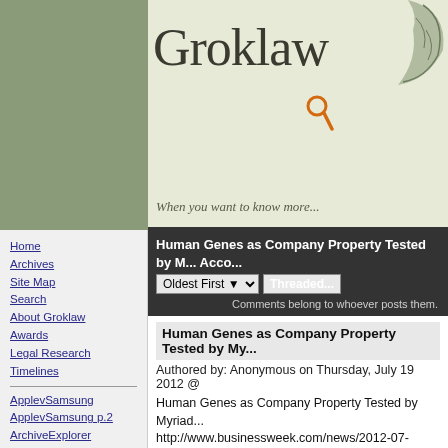[Figure (logo): Groklaw website header with logo text 'Groklaw', magnifying glass icon with orange handle, tagline 'When you want to know more...', sage green left panel, and decorative leaf illustration top right]
Navigation sidebar with links: Home, Archives, Site Map, Search, About Groklaw, Awards, Legal Research, Timelines, ApplevSamsung, ApplevSamsung p.2, ArchiveExplorer, Autozone, Bilski, Cases, Cast: Lawyers, Comes v. MS, Contracts/Documents, Courts, DRM, Gordon v MS, GPL, Grokdoc, HTML How To
Human Genes as Company Property Tested by My... Acco...
Oldest First [dropdown] Threaded...
Comments belong to whoever posts them.
Human Genes as Company Property Tested by My...
Authored by: Anonymous on Thursday, July 19 2012 @
Human Genes as Company Property Tested by Myriad... http://www.businessweek.com/news/2012-07-19/huma... ed-by-myriad-patent-case
[ Reply to This | Parent | # ]
Nokia's MS deal
Authored by: designerfx on Thursday, July 19 2012 @
Isn't Nokia's deal the same type MS has done with eve... company it's destroyed lately? Yahoo, etc? I swear we'... heard of exactly this type of deal before: "we'll pay you... you'll pay us more". Why/How does a company even s... that?
[ Reply to This | Parent | # ]